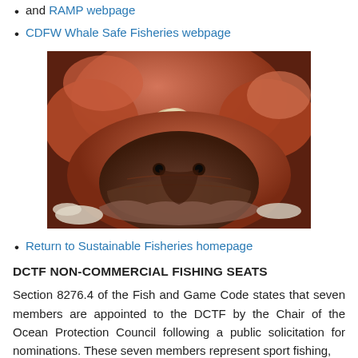and RAMP webpage
CDFW Whale Safe Fisheries webpage
[Figure (photo): Close-up photo of Dungeness crabs piled together, showing reddish-brown shells and claws]
Return to Sustainable Fisheries homepage
DCTF NON-COMMERCIAL FISHING SEATS
Section 8276.4 of the Fish and Game Code states that seven members are appointed to the DCTF by the Chair of the Ocean Protection Council following a public solicitation for nominations. These seven members represent sport fishing,